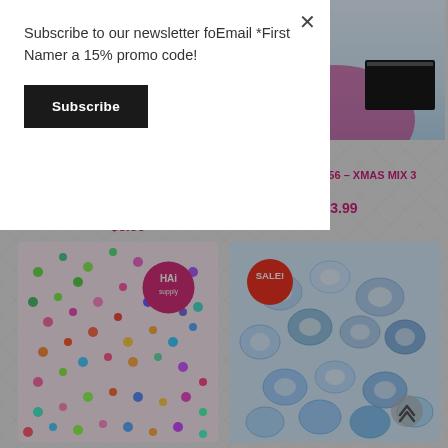Subscribe to our newsletter foEmail *First Namer a 15% promo code!
Subscribe
HAI-SEQM-027 – ROSE GOLD FLOWER CUPS
$3.99
HAI-SEQM-056 – XMAS MIX 3
$3.99
[Figure (photo): Colorful glitter flower sequins mixed together, with HAI Supply pink round logo badge in top right]
[Figure (photo): White/clear iridescent flower cup sequins on light blue background, with red SALE! badge in top left and scroll-to-top arrow button in bottom right]